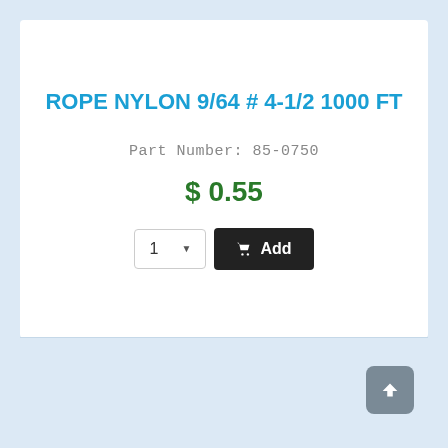ROPE NYLON 9/64 # 4-1/2 1000 FT
Part Number: 85-0750
$ 0.55
1 ▼  Add